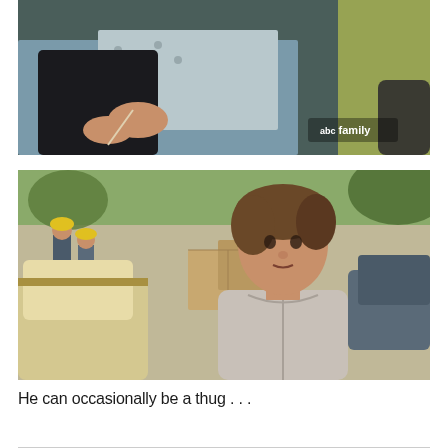[Figure (photo): Hospital scene showing a person in a hospital bed holding something, with IV lines visible, blue hospital gown. ABC Family watermark in bottom right corner.]
[Figure (photo): Young man with brown hair wearing a light grey hoodie standing outdoors near a car, with construction workers in yellow hard hats visible in the background.]
He can occasionally be a thug . . .